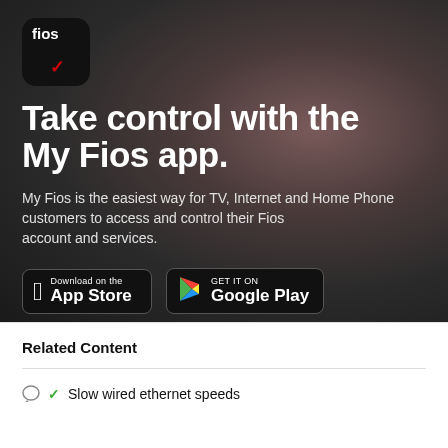[Figure (logo): Fios app icon — black rounded square with 'fios' text in white and a red checkmark]
Take control with the My Fios app.
My Fios is the easiest way for TV, Internet and Home Phone customers to access and control their Fios account and services.
[Figure (other): App Store and Google Play download badges]
Related Content
Slow wired ethernet speeds